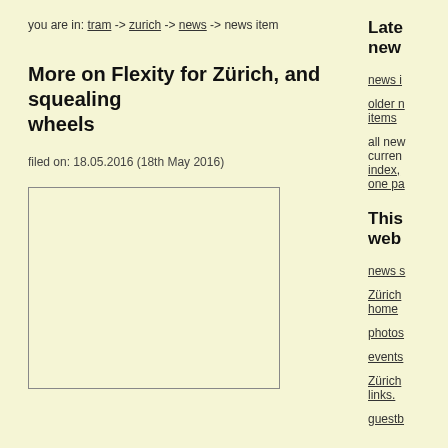you are in: tram -> zurich -> news -> news item
More on Flexity for Zürich, and squealing wheels
filed on: 18.05.2016 (18th May 2016)
[Figure (other): Empty image placeholder box with border]
Latest news
news i
older n items
all new curren index, one pa
This web
news s
Zürich home
photos
events
Zürich links.
guestb